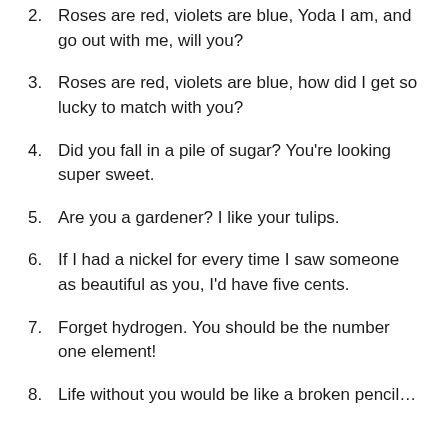2. Roses are red, violets are blue, Yoda I am, and go out with me, will you?
3. Roses are red, violets are blue, how did I get so lucky to match with you?
4. Did you fall in a pile of sugar? You're looking super sweet.
5. Are you a gardener? I like your tulips.
6. If I had a nickel for every time I saw someone as beautiful as you, I'd have five cents.
7. Forget hydrogen. You should be the number one element!
8. Life without you would be like a broken pencil…